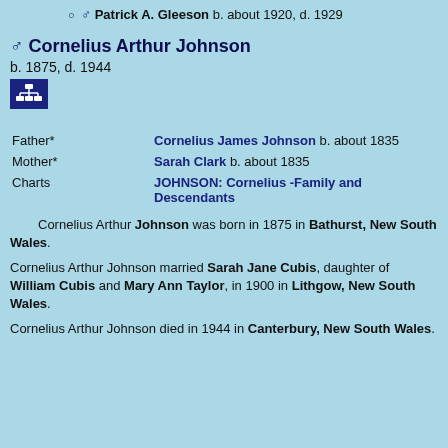♂ Patrick A. Gleeson b. about 1920, d. 1929
♂ Cornelius Arthur Johnson
b. 1875, d. 1944
[Figure (other): Dark blue icon with org-chart / hierarchy symbol in white]
| Father* | Cornelius James Johnson b. about 1835 |
| Mother* | Sarah Clark b. about 1835 |
| Charts | JOHNSON: Cornelius -Family and Descendants |
Cornelius Arthur Johnson was born in 1875 in Bathurst, New South Wales.
Cornelius Arthur Johnson married Sarah Jane Cubis, daughter of William Cubis and Mary Ann Taylor, in 1900 in Lithgow, New South Wales.
Cornelius Arthur Johnson died in 1944 in Canterbury, New South Wales.